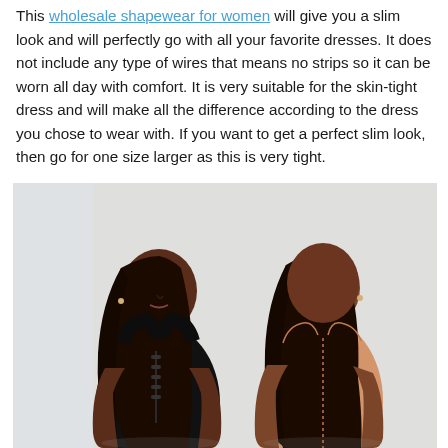This wholesale shapewear for women will give you a slim look and will perfectly go with all your favorite dresses. It does not include any type of wires that means no strips so it can be worn all day with comfort. It is very suitable for the skin-tight dress and will make all the difference according to the dress you chose to wear with. If you want to get a perfect slim look, then go for one size larger as this is very tight.
[Figure (photo): Two women modeling shapewear garments. The woman on the left faces forward wearing a black shapewear bodysuit with front hook closures. The woman on the right is turned showing the back, wearing a beige/nude shapewear tank top. Both have long dark hair and are photographed against a light gray background.]